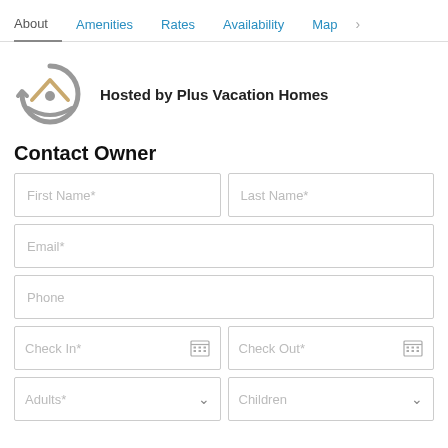About | Amenities | Rates | Availability | Map
[Figure (logo): Plus Vacation Homes circular logo with eye/arrow motif in gray]
Hosted by Plus Vacation Homes
Contact Owner
First Name*
Last Name*
Email*
Phone
Check In*
Check Out*
Adults*
Children